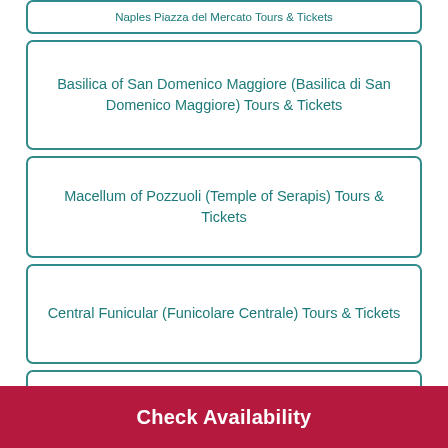Basilica of San Domenico Maggiore (Basilica di San Domenico Maggiore) Tours & Tickets
Macellum of Pozzuoli (Temple of Serapis) Tours & Tickets
Central Funicular (Funicolare Centrale) Tours & Tickets
San Carlo Opera House (Teatro di San Carlo) Tours & Tickets
Basilica di San Lorenzo Maggiore Tours & Tickets
Check Availability